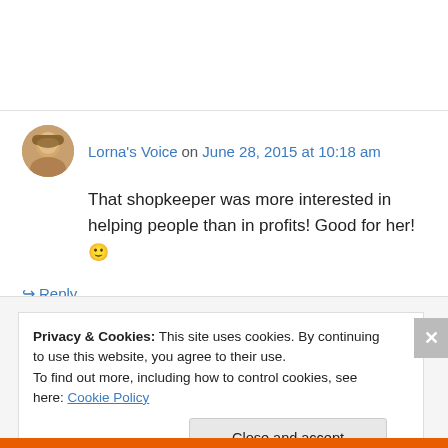Lorna's Voice on June 28, 2015 at 10:18 am
That shopkeeper was more interested in helping people than in profits! Good for her! 🙂
↪ Reply
Privacy & Cookies: This site uses cookies. By continuing to use this website, you agree to their use.
To find out more, including how to control cookies, see here: Cookie Policy
Close and accept